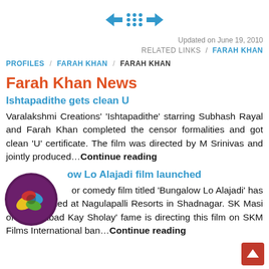[Figure (other): Navigation icons: left arrow, grid, right arrow in blue]
Updated on June 19, 2010
RELATED LINKS / FARAH KHAN
PROFILES / FARAH KHAN / FARAH KHAN
Farah Khan News
Ishtapadithe gets clean U
Varalakshmi Creations' 'Ishtapadithe' starring Subhash Rayal and Farah Khan completed the censor formalities and got clean 'U' certificate. The film was directed by M Srinivas and jointly produced…Continue reading
ow Lo Alajadi film launched
or comedy film titled 'Bungalow Lo Alajadi' has been launched at Nagulapalli Resorts in Shadnagar. SK Masi of 'Hyderabad Kay Sholay' fame is directing this film on SKM Films International ban…Continue reading
[Figure (logo): Circular logo with colorful design on dark purple background]
[Figure (other): Red up-arrow button at bottom right]